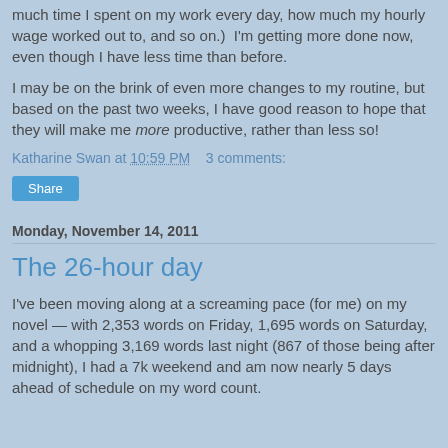much time I spent on my work every day, how much my hourly wage worked out to, and so on.)  I'm getting more done now, even though I have less time than before.
I may be on the brink of even more changes to my routine, but based on the past two weeks, I have good reason to hope that they will make me more productive, rather than less so!
Katharine Swan at 10:59 PM    3 comments:
Share
Monday, November 14, 2011
The 26-hour day
I've been moving along at a screaming pace (for me) on my novel — with 2,353 words on Friday, 1,695 words on Saturday, and a whopping 3,169 words last night (867 of those being after midnight), I had a 7k weekend and am now nearly 5 days ahead of schedule on my word count.